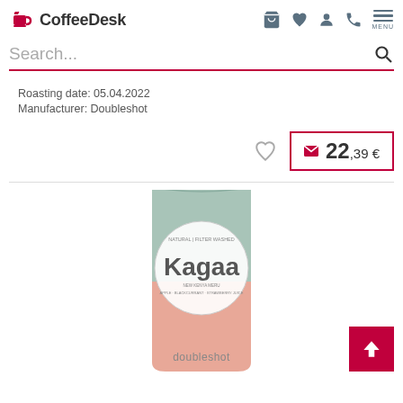[Figure (logo): CoffeeDesk logo with coffee cup icon and bold text]
[Figure (screenshot): Navigation icons: cart, heart, user, phone, menu]
Search...
Roasting date: 05.04.2022
Manufacturer: Doubleshot
22,39 €
[Figure (photo): Coffee bag with mint green top and salmon/peach bottom, circular label reading Kagaa, brand doubleshot at the bottom]